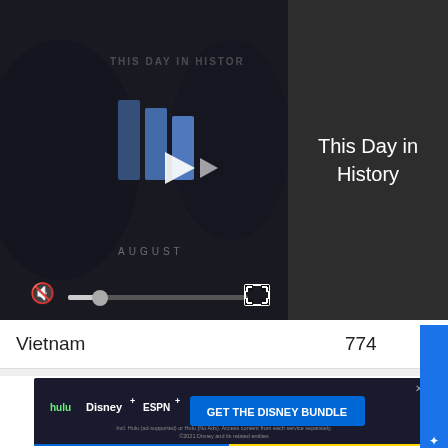[Figure (screenshot): Video player showing 'This Day in History' with play button, mute icon, progress bar, and fullscreen button on dark background]
This Day in History
|  |  |
| --- | --- |
| Vietnam | 774 |
| Second Gulf War | 257 |
| First Gulf War | 240 |
| Korea | 154 |
| World War II | 45 |
[Figure (screenshot): Advertisement banner: hulu Disney+ ESPN+ GET THE DISNEY BUNDLE]
[Figure (screenshot): Blue feedback tab on right side]
[Figure (screenshot): Filter/funnel icon and close (X) icon at bottom]